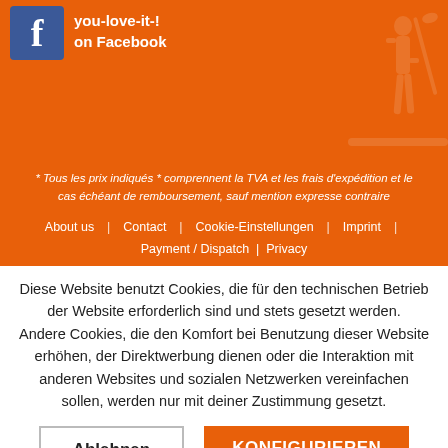[Figure (logo): Facebook logo icon (blue square with white f) alongside bold white text 'you-love-it-!' and 'on Facebook' on orange background with faint person silhouette]
* Tous les prix indiqués * comprennent la TVA et les frais d'expédition et le cas échéant de remboursement, sauf mention expresse contraire
About us | Contact | Cookie-Einstellungen | Imprint |
Payment / Dispatch | Privacy
Diese Website benutzt Cookies, die für den technischen Betrieb der Website erforderlich sind und stets gesetzt werden. Andere Cookies, die den Komfort bei Benutzung dieser Website erhöhen, der Direktwerbung dienen oder die Interaktion mit anderen Websites und sozialen Netzwerken vereinfachen sollen, werden nur mit deiner Zustimmung gesetzt.
Ablehnen
KONFIGURIEREN